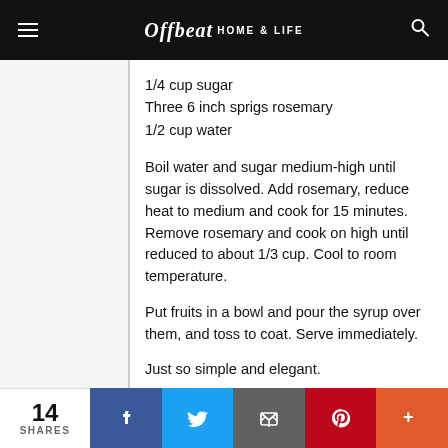Offbeat HOME & LIFE
1/4 cup sugar
Three 6 inch sprigs rosemary
1/2 cup water
Boil water and sugar medium-high until sugar is dissolved. Add rosemary, reduce heat to medium and cook for 15 minutes. Remove rosemary and cook on high until reduced to about 1/3 cup. Cool to room temperature.
Put fruits in a bowl and pour the syrup over them, and toss to coat. Serve immediately.
Just so simple and elegant.
14 SHARES